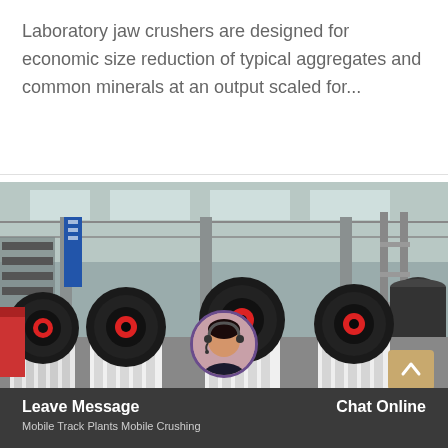Laboratory jaw crushers are designed for economic size reduction of typical aggregates and common minerals at an output scaled for...
[Figure (photo): Industrial factory interior showing multiple jaw crusher machines lined up in a row. The machines are white with large black and red flywheel discs. The factory has a high metal roof with skylights and steel structural columns.]
Leave Message   Chat Online   Mobile Track Plants Mobile Crushing